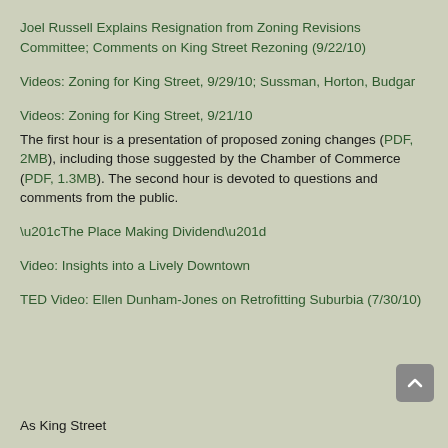Joel Russell Explains Resignation from Zoning Revisions Committee; Comments on King Street Rezoning (9/22/10)
Videos: Zoning for King Street, 9/29/10; Sussman, Horton, Budgar
Videos: Zoning for King Street, 9/21/10
The first hour is a presentation of proposed zoning changes (PDF, 2MB), including those suggested by the Chamber of Commerce (PDF, 1.3MB). The second hour is devoted to questions and comments from the public.
“The Place Making Dividend”
Video: Insights into a Lively Downtown
TED Video: Ellen Dunham-Jones on Retrofitting Suburbia (7/30/10)
As King Street...the ri...an architect, Ell...